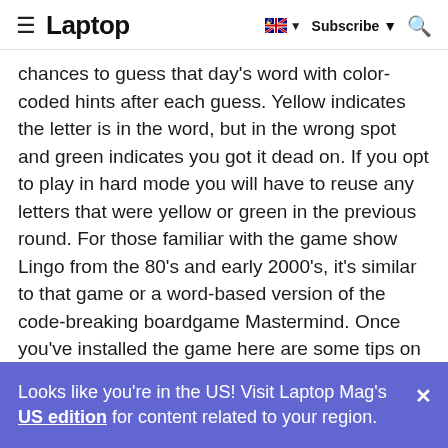≡ Laptop | 🇦🇺 ▼ Subscribe ▼ 🔍
chances to guess that day's word with color-coded hints after each guess. Yellow indicates the letter is in the word, but in the wrong spot and green indicates you got it dead on. If you opt to play in hard mode you will have to reuse any letters that were yellow or green in the previous round. For those familiar with the game show Lingo from the 80's and early 2000's, it's similar to that game or a word-based version of the code-breaking boardgame Mastermind. Once you've installed the game here are some tips on how to play Wordle.
Looks like you're in the US! Visit Laptop Mag's US edition for content related to your region.